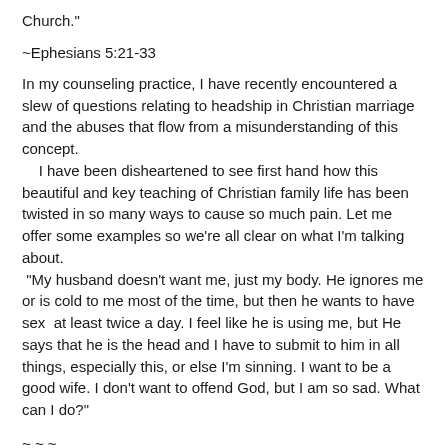Church."
~Ephesians 5:21-33
In my counseling practice, I have recently encountered a slew of questions relating to headship in Christian marriage and the abuses that flow from a misunderstanding of this concept. I have been disheartened to see first hand how this beautiful and key teaching of Christian family life has been twisted in so many ways to cause so much pain. Let me offer some examples so we're all clear on what I'm talking about. "My husband doesn't want me, just my body. He ignores me or is cold to me most of the time, but then he wants to have sex at least twice a day. I feel like he is using me, but He says that he is the head and I have to submit to him in all things, especially this, or else I'm sinning. I want to be a good wife. I don't want to offend God, but I am so sad. What can I do?"
~ ~ ~
"My husband said that I couldn't buy any birthday presents for